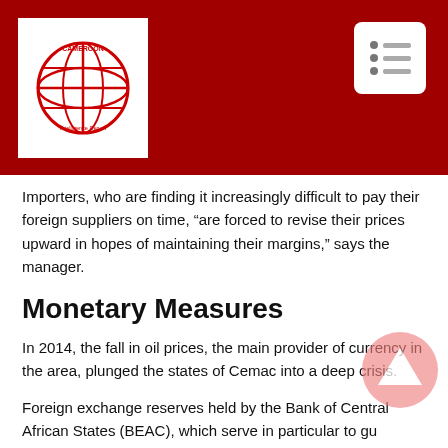[Figure (logo): Cameroon Intelligence Report logo — red globe on white background with text 'CAMEROON Intelligence Report']
Importers, who are finding it increasingly difficult to pay their foreign suppliers on time, “are forced to revise their prices upward in hopes of maintaining their margins,” says the manager.
Monetary Measures
In 2014, the fall in oil prices, the main provider of currency in the area, plunged the states of Cemac into a deep crisis.
Foreign exchange reserves held by the Bank of Central African States (BEAC), which serve in particular to gu[arantee] the CFA-euro franc bond, have collapsed, leaving the specter of a devaluation.